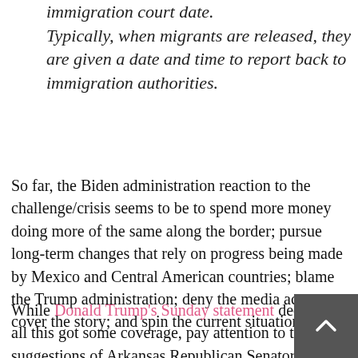immigration court date. Typically, when migrants are released, they are given a date and time to report back to immigration authorities.
So far, the Biden administration reaction to the challenge/crisis seems to be to spend more money doing more of the same along the border; pursue long-term changes that rely on progress being made by Mexico and Central American countries; blame the Trump administration; deny the media access to cover the story; and spin the current situation.
While Donald Trump's Sunday statement decrying all this got some coverage, pay attention to the suggestions of Arkansas Republican Senator Tom